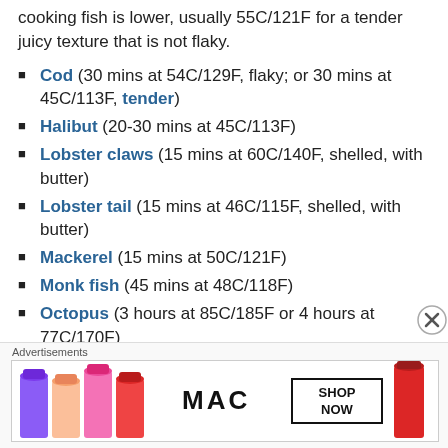cooking fish is lower, usually 55C/121F for a tender juicy texture that is not flaky.
Cod (30 mins at 54C/129F, flaky; or 30 mins at 45C/113F, tender)
Halibut (20-30 mins at 45C/113F)
Lobster claws (15 mins at 60C/140F, shelled, with butter)
Lobster tail (15 mins at 46C/115F, shelled, with butter)
Mackerel (15 mins at 50C/121F)
Monk fish (45 mins at 48C/118F)
Octopus (3 hours at 85C/185F or 4 hours at 77C/170F)
Oysters (20 mins at 48C/118F, shucked)
Salmon (30 mins at 43C/109F)
[Figure (photo): MAC Cosmetics advertisement showing lipsticks with SHOP NOW button]